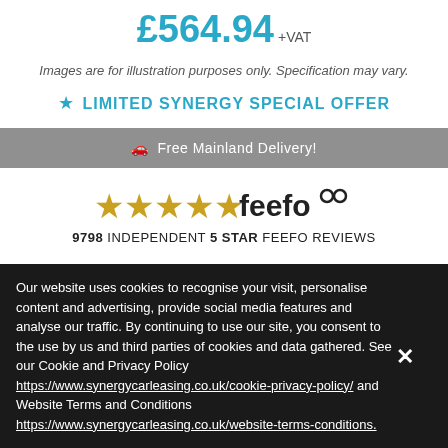£564.94 +VAT
Images are for illustration purposes only. Specification may vary.
★ LIMITED SYNERGY SPECIAL OFFER
🚗 Free Mainland Delivery!
[Figure (logo): Feefo five gold stars logo with brand name 'feefo']
9798 INDEPENDENT 5 STAR FEEFO REVIEWS
Our website uses cookies to recognise your visit, personalise content and advertising, provide social media features and analyse our traffic. By continuing to use our site, you consent to the use by us and third parties of cookies and data gathered. See our Cookie and Privacy Policy https://www.synergycarleasing.co.uk/cookie-privacy-policy/ and Website Terms and Conditions https://www.synergycarleasing.co.uk/website-terms-conditions.